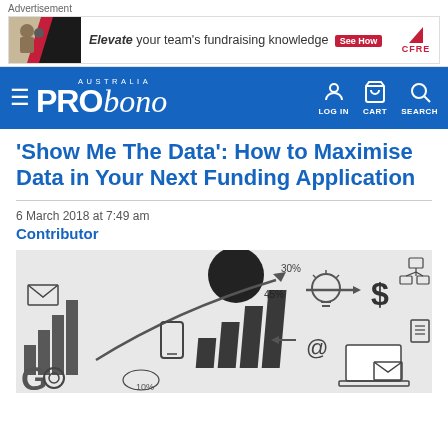Advertisement
[Figure (screenshot): Advertisement banner: image of people on left with red/dark diagonal, text 'Elevate your team's fundraising knowledge See How' with CFRE logo on right]
[Figure (logo): Pro Bono Australia website navigation bar with hamburger menu, PRObono Australia logo in white on blue background, LOG IN, CART, SEARCH icons]
'Show Me The Data': How to Maximise Data in Your Next Funding Application
6 March 2018 at 7:49 am
Contributor
[Figure (illustration): Doodle/sketch style illustration with business/data icons: bar charts, arrows, lightbulb, dollar sign, laptop, mobile phone, email envelopes, pie chart with 30% and 45% labels, letter G, gears, @ symbol, checklist]